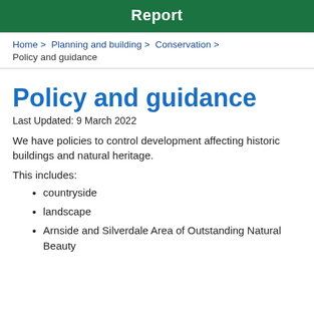Report
Home > Planning and building > Conservation > Policy and guidance
Policy and guidance
Last Updated: 9 March 2022
We have policies to control development affecting historic buildings and natural heritage.
This includes:
countryside
landscape
Arnside and Silverdale Area of Outstanding Natural Beauty